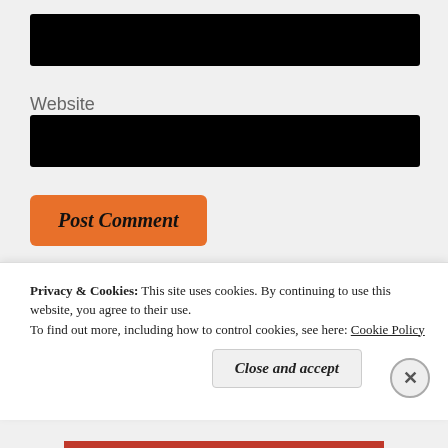[Figure (other): Redacted black input field (top)]
Website
[Figure (other): Redacted black input field (website)]
Post Comment
Notify me of new comments via email.
Notify me of new posts via email.
Privacy & Cookies: This site uses cookies. By continuing to use this website, you agree to their use.
To find out more, including how to control cookies, see here: Cookie Policy
Close and accept